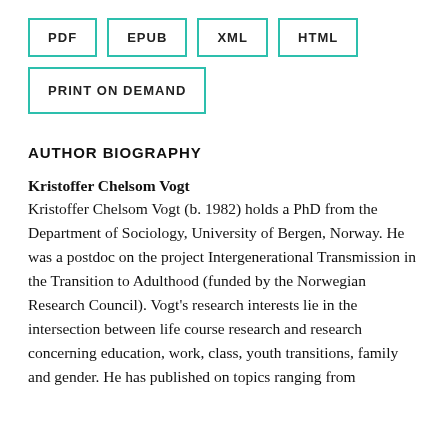[Figure (other): Row of format buttons: PDF, EPUB, XML, HTML, and PRINT ON DEMAND, each with teal border]
AUTHOR BIOGRAPHY
Kristoffer Chelsom Vogt
Kristoffer Chelsom Vogt (b. 1982) holds a PhD from the Department of Sociology, University of Bergen, Norway. He was a postdoc on the project Intergenerational Transmission in the Transition to Adulthood (funded by the Norwegian Research Council). Vogt's research interests lie in the intersection between life course research and research concerning education, work, class, youth transitions, family and gender. He has published on topics ranging from